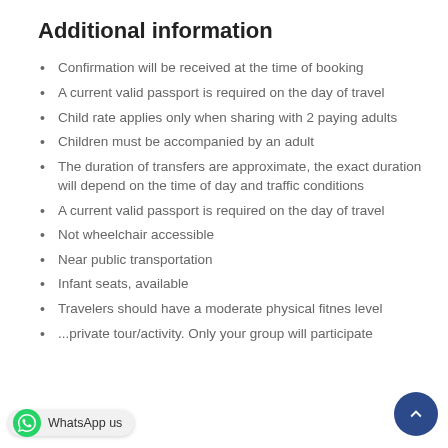Additional information
Confirmation will be received at the time of booking
A current valid passport is required on the day of travel
Child rate applies only when sharing with 2 paying adults
Children must be accompanied by an adult
The duration of transfers are approximate, the exact duration will depend on the time of day and traffic conditions
A current valid passport is required on the day of travel
Not wheelchair accessible
Near public transportation
Infant seats, available
Travelers should have a moderate physical fitness level
...private tour/activity. Only your group will participate